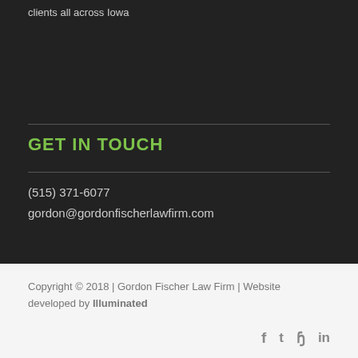clients all across Iowa
GET IN TOUCH
(515) 371-6077
gordon@gordonfischerlawfirm.com
Copyright © 2018 | Gordon Fischer Law Firm | Website developed by Illuminated